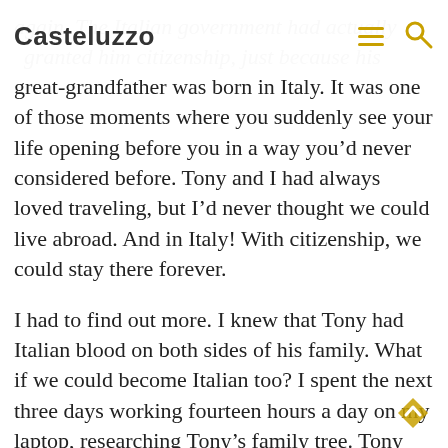Casteluzzo
great-grandfather was born in Italy. It was one of those moments where you suddenly see your life opening before you in a way you'd never considered before. Tony and I had always loved traveling, but I'd never thought we could live abroad. And in Italy! With citizenship, we could stay there forever.
I had to find out more. I knew that Tony had Italian blood on both sides of his family. What if we could become Italian too? I spent the next three days working fourteen hours a day on my laptop, researching Tony's family tree. Tony spent the next three days watching our baby daughter and bemusedly bringing me Panda Express to eat at the computer. I needed to learn how far back his ancestors had